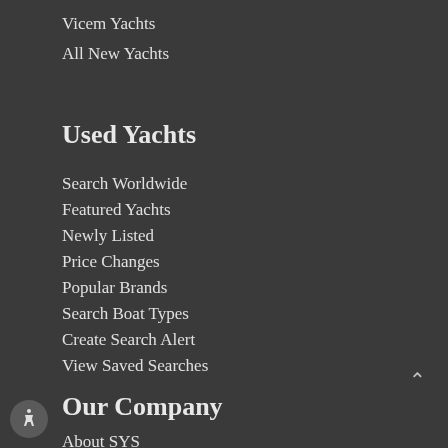Vicem Yachts
All New Yachts
Used Yachts
Search Worldwide
Featured Yachts
Newly Listed
Price Changes
Popular Brands
Search Boat Types
Create Search Alert
View Saved Searches
Our Company
About SYS